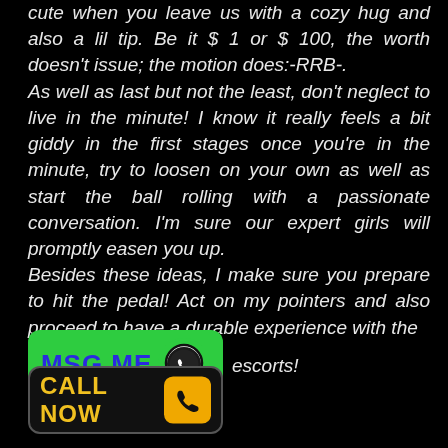cute when you leave us with a cozy hug and also a lil tip. Be it $ 1 or $ 100, the worth doesn't issue; the motion does:-RRB-.
As well as last but not the least, don't neglect to live in the minute! I know it really feels a bit giddy in the first stages once you're in the minute, try to loosen on your own as well as start the ball rolling with a passionate conversation. I'm sure our expert girls will promptly easen you up.
Besides these ideas, I make sure you prepare to hit the pedal! Act on my pointers and also proceed to have a durable experience with the escorts!
[Figure (other): Green button with 'MSG ME' text in blue and WhatsApp icon]
[Figure (other): Black button with 'CALL NOW' text in yellow and phone icon]